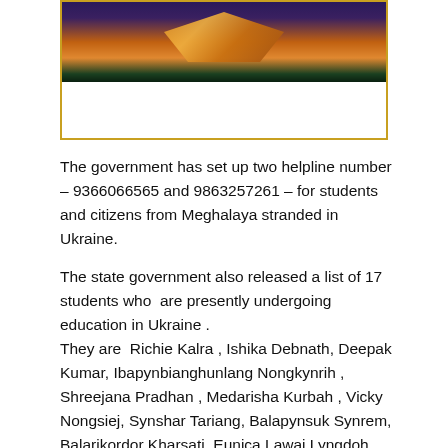[Figure (photo): Aerial photograph of a government building or monument illuminated at night with orange and purple lights, bordered by a gold/amber rectangular frame. The lower portion of the frame is white/empty.]
The government has set up two helpline number – 9366066565 and 9863257261 – for students and citizens from Meghalaya stranded in Ukraine.
The state government also released a list of 17 students who  are presently undergoing education in Ukraine .
They are  Richie Kalra , Ishika Debnath, Deepak Kumar, Ibapynbianghunlang Nongkynrih , Shreejana Pradhan , Medarisha Kurbah , Vicky Nongsiej, Synshar Tariang, Balapynsuk Synrem, Balarikordor Kharsati, Eunica Lawai Lyngdoh, Iwadamon Suchiang, Lashantihun Syiem, Dajiedkyrpang Rymbai, Mebaaishisha Paliar, Phiba Marbaniang and